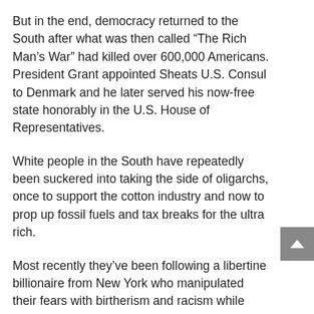But in the end, democracy returned to the South after what was then called “The Rich Man’s War” had killed over 600,000 Americans. President Grant appointed Sheats U.S. Consul to Denmark and he later served his now-free state honorably in the U.S. House of Representatives.
White people in the South have repeatedly been suckered into taking the side of oligarchs, once to support the cotton industry and now to prop up fossil fuels and tax breaks for the ultra rich.
Most recently they’ve been following a libertine billionaire from New York who manipulated their fears with birtherism and racism while mocking them behind their backs.
Will America be torn apart again, now that a new